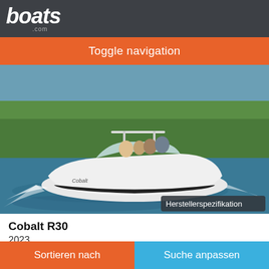boats.com
Toggle navigation
[Figure (photo): A white Cobalt R30 speedboat with a family on board cruising on a river or waterway, with green trees in the background and wake behind the boat. Badge overlay reads 'Herstellerspezifikation'.]
Cobalt R30
2023
Auf Anfrage
Sortieren nach  Suche anpassen